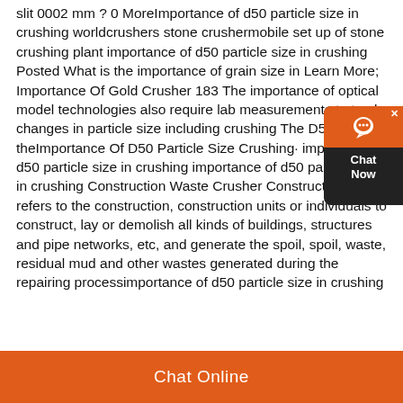slit 0002 mm ? 0 MoreImportance of d50 particle size in crushing worldcrushers stone crushermobile set up of stone crushing plant importance of d50 particle size in crushing Posted What is the importance of grain size in Learn More; Importance Of Gold Crusher 183 The importance of optical model technologies also require lab measurements to track changes in particle size including crushing The D50 is theImportance Of D50 Particle Size Crushing· importance of d50 particle size in crushing importance of d50 particle size in crushing Construction Waste Crusher Construction waste refers to the construction, construction units or individuals to construct, lay or demolish all kinds of buildings, structures and pipe networks, etc, and generate the spoil, spoil, waste, residual mud and other wastes generated during the repairing processimportance of d50 particle size in crushing
[Figure (other): Chat widget with orange background circle icon and 'Chat Now' text on dark background]
Chat Online